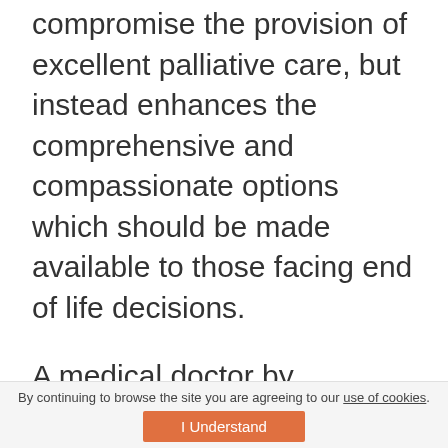compromise the provision of excellent palliative care, but instead enhances the comprehensive and compassionate options which should be made available to those facing end of life decisions.
A medical doctor by profession, Sorcha worked in a specialist palliative care unit before managing Aberdeen-based charity Charlie House, which supports the families of children with life-limiting conditions.
Sorcha is confident that Scotland will soon join the
By continuing to browse the site you are agreeing to our use of cookies. I Understand